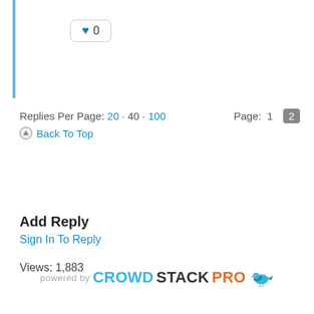[Figure (other): Like button with heart icon showing count 0]
Replies Per Page: 20 · 40 · 100    Page: 1  2
Back To Top
[Figure (other): Previous button (yellow pill shape with << chevrons)]
Add Reply
Sign In To Reply
Views: 1,883
[Figure (logo): powered by CROWDSTACKPRO logo with bird icon]